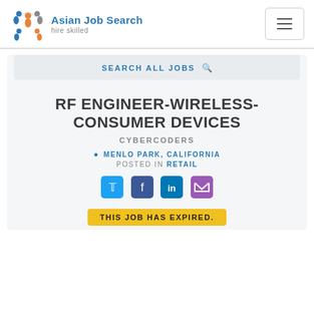[Figure (logo): Asian Job Search logo with colorful figures and text 'Asian Job Search hire skilled']
RF ENGINEER-WIRELESS-CONSUMER DEVICES
CYBERCODERS
MENLO PARK, CALIFORNIA
POSTED IN RETAIL
[Figure (infographic): Social share icons: Twitter, Facebook, LinkedIn, Email]
THIS JOB HAS EXPIRED.